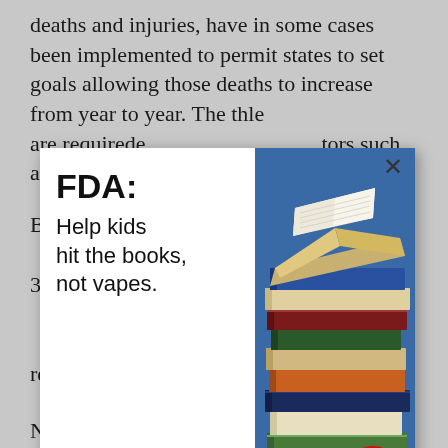deaths and injuries, have in some cases been implemented to permit states to set goals allowing those deaths to increase from year to year. The thle are required tors such as h.
[Figure (infographic): FDA advertisement overlay: 'FDA: Help kids hit the books, not vapes.' with a LEARN MORE red button and a photo of stacked books, Campaign for Tobacco-Free Kids badge.]
But sky nal Highway ects that 31 tween January persist e spurred a reevaluation of that policy.
Now, the federal government, partly through the bipartisan infrastructure law passed last year and